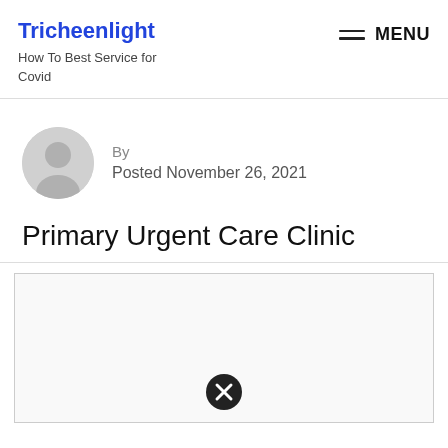Tricheenlight
How To Best Service for Covid
By
Posted November 26, 2021
Primary Urgent Care Clinic
[Figure (other): Image placeholder box with a close/remove icon (circled X) at the bottom center]